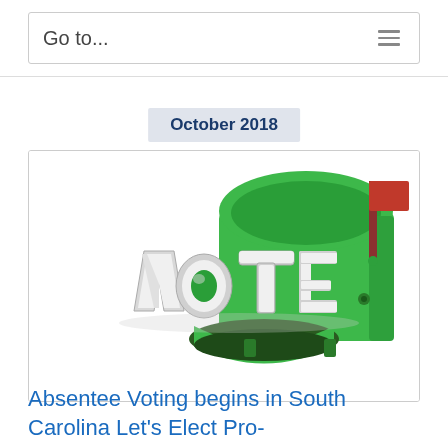Go to...
October 2018
[Figure (illustration): 3D illustration of the word VOTE in metallic silver letters in front of an open green mailbox with a red flag raised, on white background]
Absentee Voting begins in South Carolina Let’s Elect Pro-